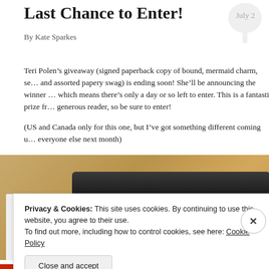Last Chance to Enter!
By Kate Sparkes
July 2
Teri Polen’s giveaway (signed paperback copy of bound, mermaid charm, se… and assorted papery swag) is ending soon! She’ll be announcing the winner … which means there’s only a day or so left to enter. This is a fantastic prize fr… generous reader, so be sure to enter!
(US and Canada only for this one, but I’ve got something different coming u… everyone else next month)
[Figure (photo): Photo of a book or e-reader on a wooden desk surface with a black tablet/phone device visible]
Privacy & Cookies: This site uses cookies. By continuing to use this website, you agree to their use.
To find out more, including how to control cookies, see here: Cookie Policy
Close and accept